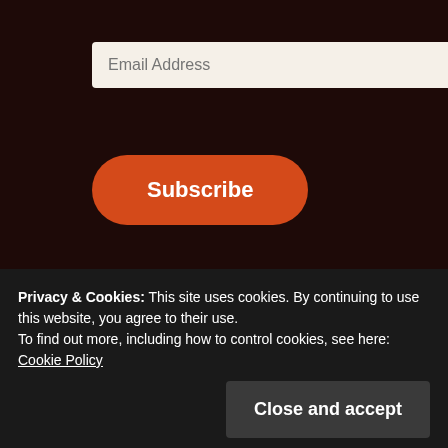Email Address
Subscribe
RSS
RSS – Posts
RSS – Comments
Privacy & Cookies: This site uses cookies. By continuing to use this website, you agree to their use. To find out more, including how to control cookies, see here: Cookie Policy
Close and accept